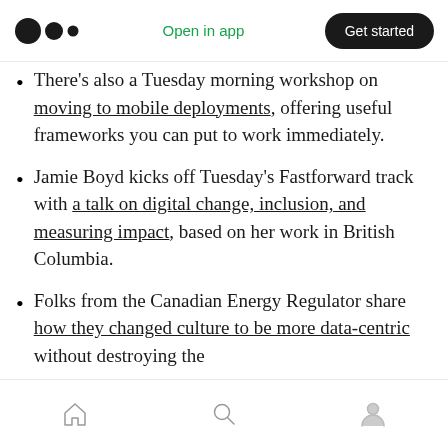Medium logo | Open in app | Get started
There's also a Tuesday morning workshop on moving to mobile deployments, offering useful frameworks you can put to work immediately.
Jamie Boyd kicks off Tuesday's Fastforward track with a talk on digital change, inclusion, and measuring impact, based on her work in British Columbia.
Folks from the Canadian Energy Regulator share how they changed culture to be more data-centric without destroying the
Navigation bar: Home, Search, Profile